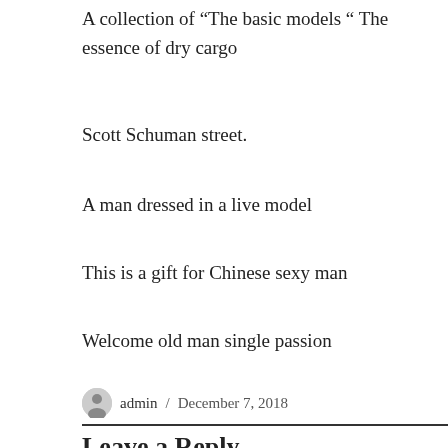A collection of “The basic models ” The essence of dry cargo
Scott Schuman street.
A man dressed in a live model
This is a gift for Chinese sexy man
Welcome old man single passion
admin / December 7, 2018
Leave a Reply